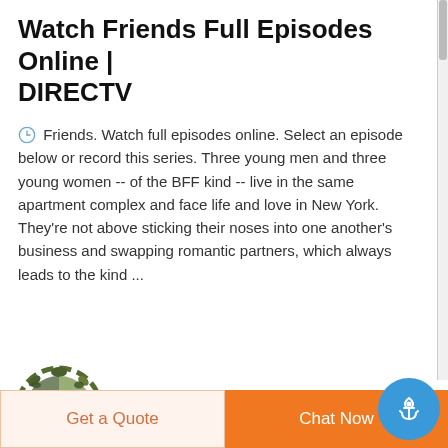Watch Friends Full Episodes Online | DIRECTV
Friends. Watch full episodes online. Select an episode below or record this series. Three young men and three young women -- of the BFF kind -- live in the same apartment complex and face life and love in New York. They’re not above sticking their noses into one another’s business and swapping romantic partners, which always leads to the kind ...
[Figure (logo): DEEKON logo: circular camouflage pattern badge with a red D in the center, and bold red DEEKON text below]
[Figure (photo): Camouflage military hat/cap, partially visible at the bottom of the screen]
Get a Quote
Chat Now